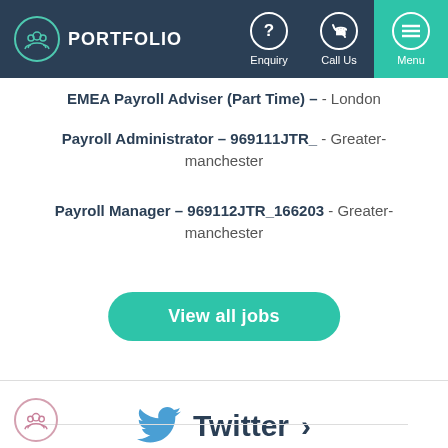PORTFOLIO | Enquiry | Call Us | Menu
EMEA Payroll Adviser (Part Time) – - London
Payroll Administrator – 969111JTR_ - Greater-manchester
Payroll Manager – 969112JTR_166203 - Greater-manchester
View all jobs
Twitter >